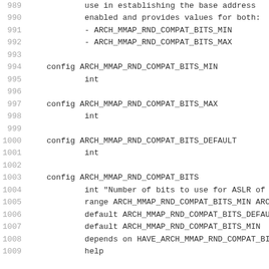989    use in establishing the base address
990    enabled and provides values for both:
991    - ARCH_MMAP_RND_COMPAT_BITS_MIN
992    - ARCH_MMAP_RND_COMPAT_BITS_MAX
993
994    config ARCH_MMAP_RND_COMPAT_BITS_MIN
995            int
996
997    config ARCH_MMAP_RND_COMPAT_BITS_MAX
998            int
999
1000   config ARCH_MMAP_RND_COMPAT_BITS_DEFAULT
1001           int
1002
1003   config ARCH_MMAP_RND_COMPAT_BITS
1004           int "Number of bits to use for ASLR of
1005           range ARCH_MMAP_RND_COMPAT_BITS_MIN ARC
1006           default ARCH_MMAP_RND_COMPAT_BITS_DEFAU
1007           default ARCH_MMAP_RND_COMPAT_BITS_MIN
1008           depends on HAVE_ARCH_MMAP_RND_COMPAT_BI
1009           help